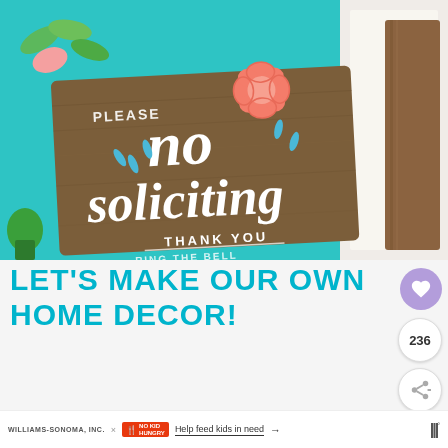[Figure (photo): A wooden sign reading 'Please NO soliciting THANK YOU' with floral decorations on a teal background, showing a crafted home decor sign with a coral flower and blue accents]
LET'S MAKE OUR OWN HOME DECOR!
236
Your first name
WILLIAMS-SONOMA, INC. × NO KID HUNGRY  Help feed kids in need →